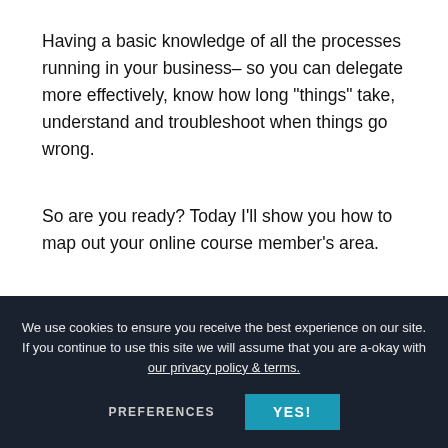Having a basic knowledge of all the processes running in your business– so you can delegate more effectively, know how long "things" take, understand and troubleshoot when things go wrong.
So are you ready? Today I'll show you how to map out your online course member's area.
Here's what we're going to
We use cookies to ensure you receive the best experience on our site. If you continue to use this site we will assume that you are a-okay with our privacy policy & terms.